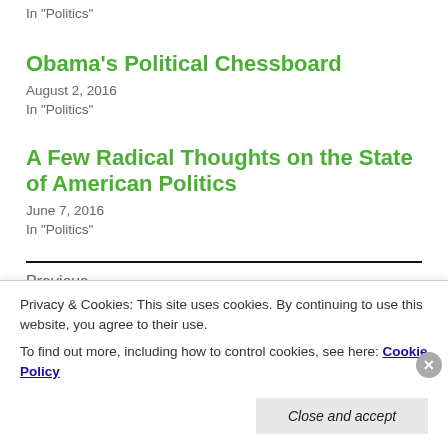In "Politics"
Obama's Political Chessboard
August 2, 2016
In "Politics"
A Few Radical Thoughts on the State of American Politics
June 7, 2016
In "Politics"
Previous
SLOW MOTION BIAS
Next
Privacy & Cookies: This site uses cookies. By continuing to use this website, you agree to their use.
To find out more, including how to control cookies, see here: Cookie Policy
Close and accept